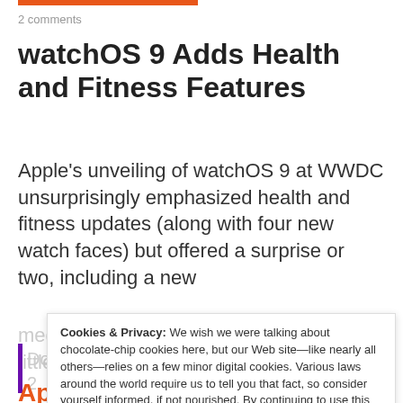2 comments
watchOS 9 Adds Health and Fitness Features
Apple's unveiling of watchOS 9 at WWDC unsurprisingly emphasized health and fitness updates (along with four new watch faces) but offered a surprise or two, including a new
medication tracking app and a brilliant little
Dock Tracker...
5 June 2022
2 Comments
Apple Unveils M2-Powered
Cookies & Privacy: We wish we were talking about chocolate-chip cookies here, but our Web site—like nearly all others—relies on a few minor digital cookies. Various laws around the world require us to tell you that fact, so consider yourself informed, if not nourished. By continuing to use this site, you agree to our use of these cookies. Cookie and Privacy Notice Close and Accept